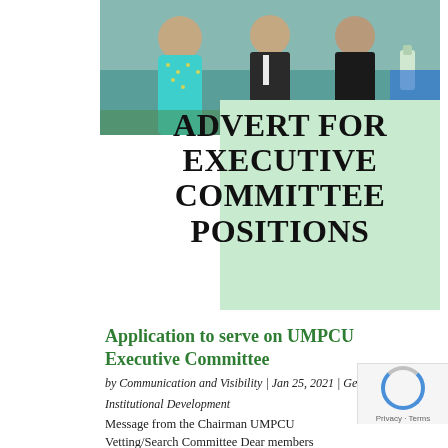[Figure (photo): Group of people standing outdoors, one person in a teal/turquoise patterned dress, others in formal dark attire, outdoor setting with hand sanitizer bottle visible]
ADVERT FOR EXECUTIVE COMMITTEE POSITIONS
Application to serve on UMPCU Executive Committee
by Communication and Visibility | Jan 25, 2021 | General, Institutional Development
Message from the Chairman UMPCU Vetting/Search Committee Dear members This is to bring to your attention that we have